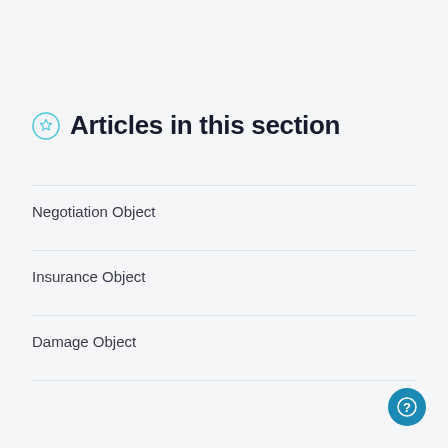Articles in this section
Negotiation Object
Insurance Object
Damage Object